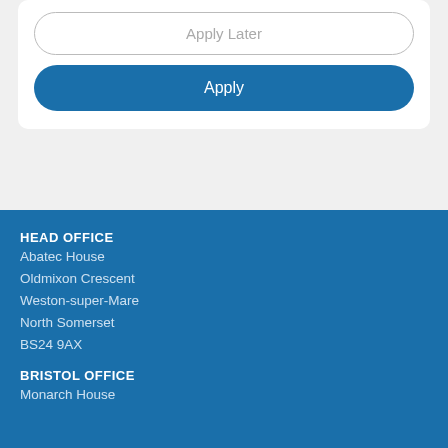[Figure (screenshot): Mobile app UI showing two buttons inside a white card on a grey background: 'Apply Later' (outlined) and 'Apply' (blue filled)]
HEAD OFFICE
Abatec House
Oldmixon Crescent
Weston-super-Mare
North Somerset
BS24 9AX
BRISTOL OFFICE
Monarch House